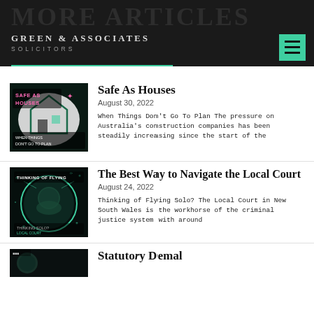MORE ARTICLES
Green & Associates Solicitors
[Figure (illustration): Article thumbnail for Safe As Houses: dark background with house outline and text 'Safe As Houses' and 'When Things Don't Go To Plan']
Safe As Houses
August 30, 2022
When Things Don't Go To Plan The pressure on Australia's construction companies has been steadily increasing since the start of the
[Figure (illustration): Article thumbnail for The Best Way to Navigate the Local Court: dark circular image with text 'Thinking Of Flying Solo' and 'Local Court']
The Best Way to Navigate the Local Court
August 24, 2022
Thinking of Flying Solo? The Local Court in New South Wales is the workhorse of the criminal justice system with around
[Figure (illustration): Partial article thumbnail at bottom of page]